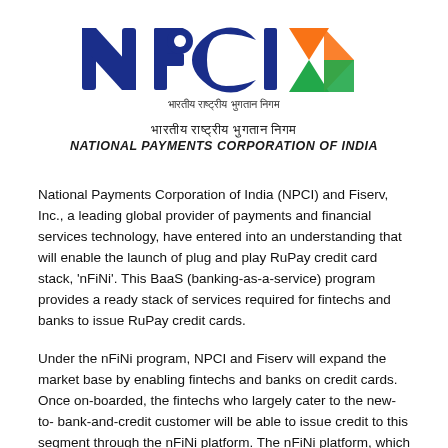[Figure (logo): NPCI logo with dark blue lettering 'NPCI', orange and green triangular arrow, Hindi text 'भारतीय राष्ट्रीय भुगतान निगम', and English text 'NATIONAL PAYMENTS CORPORATION OF INDIA']
National Payments Corporation of India (NPCI) and Fiserv, Inc., a leading global provider of payments and financial services technology, have entered into an understanding that will enable the launch of plug and play RuPay credit card stack, 'nFiNi'. This BaaS (banking-as-a-service) program provides a ready stack of services required for fintechs and banks to issue RuPay credit cards.
Under the nFiNi program, NPCI and Fiserv will expand the market base by enabling fintechs and banks on credit cards. Once on-boarded, the fintechs who largely cater to the new-to-bank-and-credit customer will be able to issue credit to this segment through the nFiNi platform. The nFiNi platform, which is a breakthrough plug and play RuPay credit card stack, will power